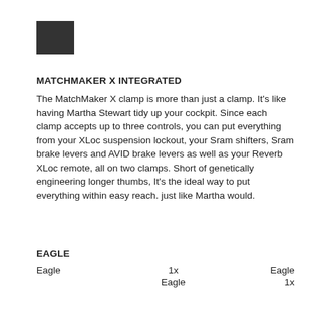[Figure (other): Small dark square/rectangle logo or decorative element]
MATCHMAKER X INTEGRATED
The MatchMaker X clamp is more than just a clamp. It's like having Martha Stewart tidy up your cockpit. Since each clamp accepts up to three controls, you can put everything from your XLoc suspension lockout, your Sram shifters, Sram brake levers and AVID brake levers as well as your Reverb XLoc remote, all on two clamps. Short of genetically engineering longer thumbs, It's the ideal way to put everything within easy reach. just like Martha would.
EAGLE
| Eagle | 1x | Eagle |
|  | Eagle | 1x |